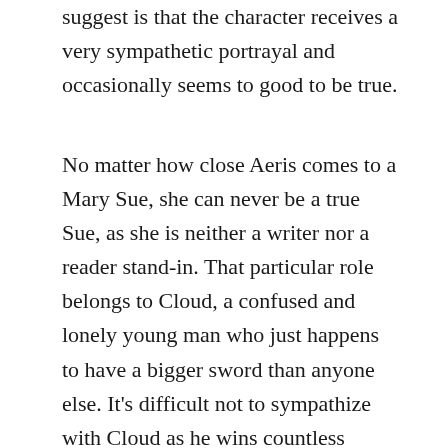suggest is that the character receives a very sympathetic portrayal and occasionally seems to good to be true.
No matter how close Aeris comes to a Mary Sue, she can never be a true Sue, as she is neither a writer nor a reader stand-in. That particular role belongs to Cloud, a confused and lonely young man who just happens to have a bigger sword than anyone else. It’s difficult not to sympathize with Cloud as he wins countless battles, runs up endless flights of stairs, snowboards, rides a huge motorcycle, cross-dresses, discovers his forgotten past, wins his revenge from the psychopath who torched his hometown, and is praised and admired by almost everyone in the game’s cast. At his core